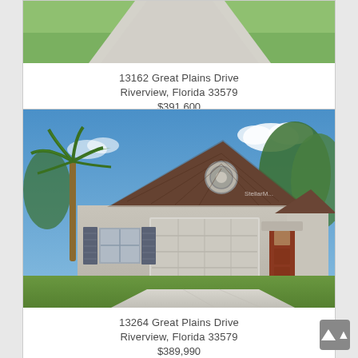[Figure (photo): Aerial/driveway view of a house in Riverview Florida - top portion visible showing driveway and lawn]
13162 Great Plains Drive
Riverview, Florida 33579
$391,600
[Figure (photo): Exterior rendering of a single-story stucco home with dark roof, two-car garage, decorative window shutters, palm tree on left, and red front door, at 13264 Great Plains Drive Riverview Florida]
13264 Great Plains Drive
Riverview, Florida 33579
$389,990